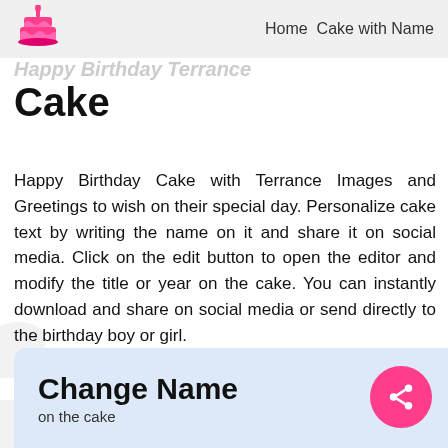Home  Cake with Name
Happy Birthday Terrance Cake
Happy Birthday Cake with Terrance Images and Greetings to wish on their special day. Personalize cake text by writing the name on it and share it on social media. Click on the edit button to open the editor and modify the title or year on the cake. You can instantly download and share on social media or send directly to the birthday boy or girl.
Change Name
on the cake